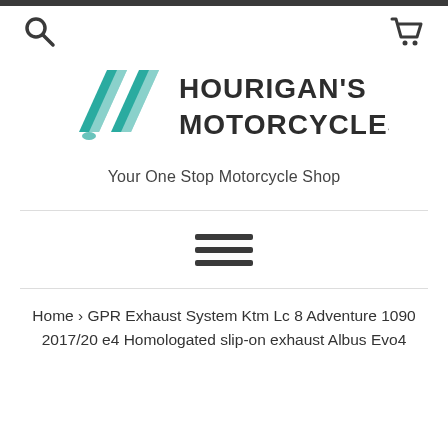[Figure (logo): Hourigan's Motorcycles logo with teal geometric chevron/parallelogram shapes on the left and bold text 'HOURIGAN'S MOTORCYCLES' on the right]
Your One Stop Motorcycle Shop
Home › GPR Exhaust System Ktm Lc 8 Adventure 1090 2017/20 e4 Homologated slip-on exhaust Albus Evo4